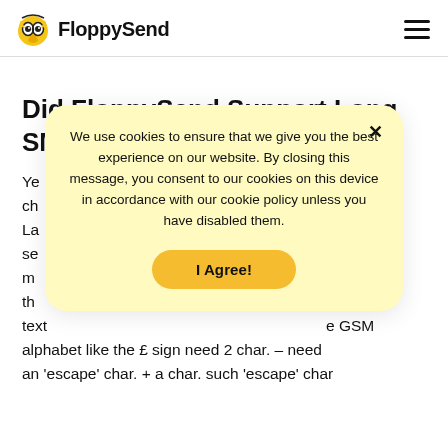FloppySend
Did FloppySend Support Long SMS Messages?
Yes ... GSM characters ... code La ... SMS me ... always the ... a one text ... e GSM alphabet like the £ sign need 2 char. – need an 'escape' char. + a char. such 'escape' char
We use cookies to ensure that we give you the best experience on our website. By closing this message, you consent to our cookies on this device in accordance with our cookie policy unless you have disabled them.
I Agree!